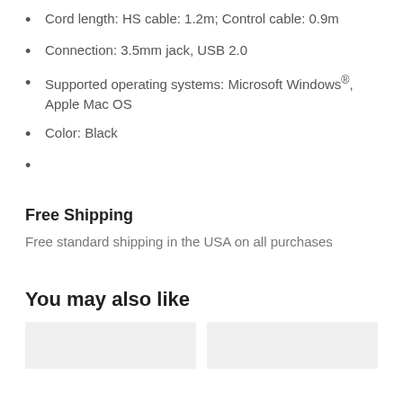Cord length: HS cable: 1.2m; Control cable: 0.9m
Connection: 3.5mm jack, USB 2.0
Supported operating systems: Microsoft Windows®, Apple Mac OS
Color: Black
Free Shipping
Free standard shipping in the USA on all purchases
You may also like
[Figure (other): Two gray thumbnail image placeholders side by side]